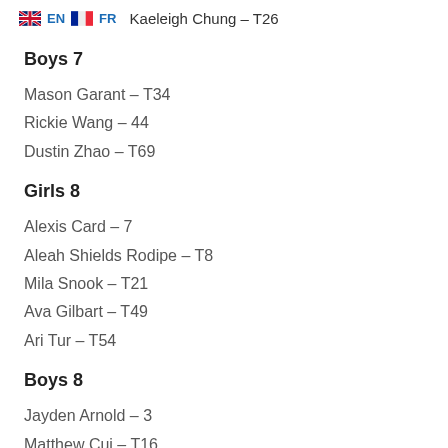Kaeleigh Chung – T26
Boys 7
Mason Garant – T34
Rickie Wang – 44
Dustin Zhao – T69
Girls 8
Alexis Card – 7
Aleah Shields Rodipe – T8
Mila Snook – T21
Ava Gilbart – T49
Ari Tur – T54
Boys 8
Jayden Arnold – 3
Matthew Cui – T16
Liam Ampil – T72